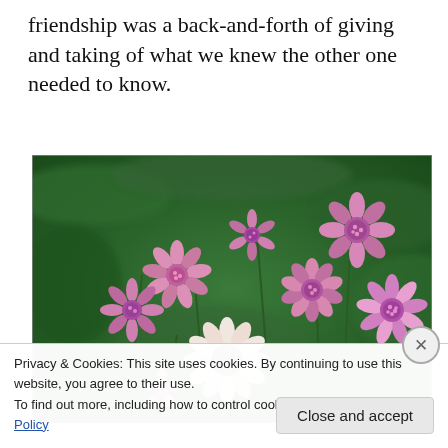friendship was a back-and-forth of giving and taking of what we knew the other one needed to know.
[Figure (photo): Close-up photograph of pink astrantia (masterwort) flowers with multiple blooms showing star-shaped bracts and spherical pink flower heads against a blurred green leafy background.]
Privacy & Cookies: This site uses cookies. By continuing to use this website, you agree to their use.
To find out more, including how to control cookies, see here: Cookie Policy